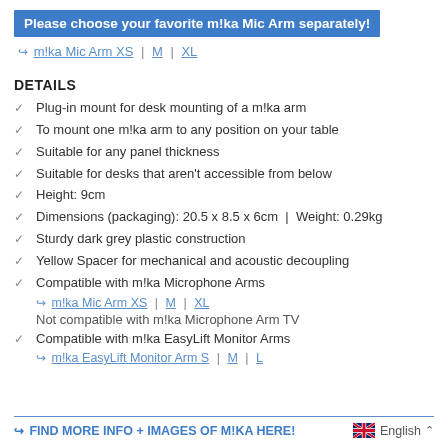Please choose your favorite m!ka Mic Arm separately!
↪ m!ka Mic Arm XS | M | XL
DETAILS
Plug-in mount for desk mounting of a m!ka arm
To mount one m!ka arm to any position on your table
Suitable for any panel thickness
Suitable for desks that aren't accessible from below
Height: 9cm
Dimensions (packaging): 20.5 x 8.5 x 6cm  |  Weight: 0.29kg
Sturdy dark grey plastic construction
Yellow Spacer for mechanical and acoustic decoupling
Compatible with m!ka Microphone Arms
↪ m!ka Mic Arm XS | M | XL
Not compatible with m!ka Microphone Arm TV
Compatible with m!ka EasyLift Monitor Arms
↪ m!ka EasyLift Monitor Arm S | M | L
↪ FIND MORE INFO + IMAGES OF M!KA HERE!   English ^